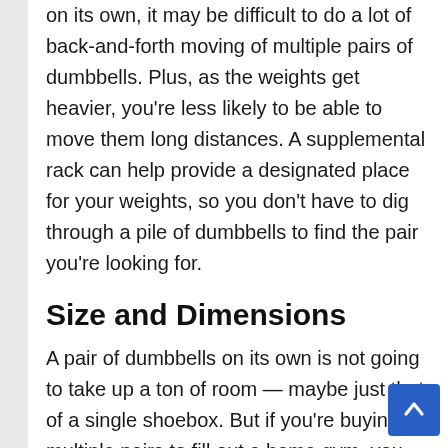on its own, it may be difficult to do a lot of back-and-forth moving of multiple pairs of dumbbells. Plus, as the weights get heavier, you're less likely to be able to move them long distances. A supplemental rack can help provide a designated place for your weights, so you don't have to dig through a pile of dumbbells to find the pair you're looking for.
Size and Dimensions
A pair of dumbbells on its own is not going to take up a ton of room — maybe just that of a single shoebox. But if you're buying multiple pairs to fill out a home gym, you could end up needing room for five or 20+ pairs of dumbbells. And the heavier bells take up even more room on their own. This could equal out